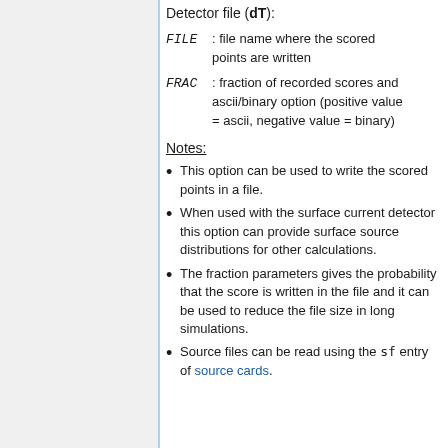Detector file (dT):
FILE : file name where the scored points are written
FRAC : fraction of recorded scores and ascii/binary option (positive value = ascii, negative value = binary)
Notes:
This option can be used to write the scored points in a file.
When used with the surface current detector this option can provide surface source distributions for other calculations.
The fraction parameters gives the probability that the score is written in the file and it can be used to reduce the file size in long simulations.
Source files can be read using the sf entry of source cards.